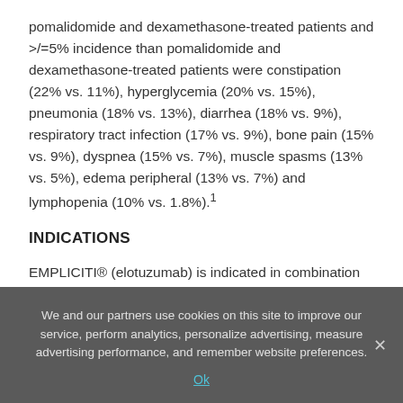pomalidomide and dexamethasone-treated patients and >/=5% incidence than pomalidomide and dexamethasone-treated patients were constipation (22% vs. 11%), hyperglycemia (20% vs. 15%), pneumonia (18% vs. 13%), diarrhea (18% vs. 9%), respiratory tract infection (17% vs. 9%), bone pain (15% vs. 9%), dyspnea (15% vs. 7%), muscle spasms (13% vs. 5%), edema peripheral (13% vs. 7%) and lymphopenia (10% vs. 1.8%).¹
INDICATIONS
EMPLICITI® (elotuzumab) is indicated in combination with lenalidomide and dexamethasone for the treatment of adult patients with multiple myeloma who have received one to three
We and our partners use cookies on this site to improve our service, perform analytics, personalize advertising, measure advertising performance, and remember website preferences.